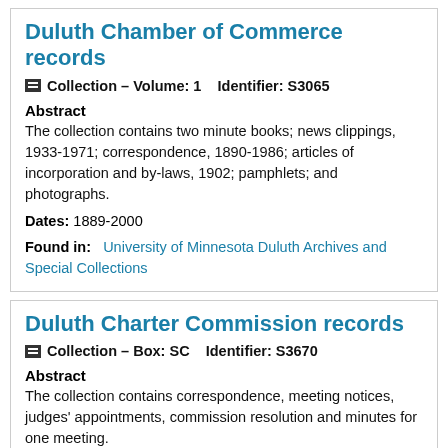Duluth Chamber of Commerce records
Collection – Volume: 1    Identifier: S3065
Abstract
The collection contains two minute books; news clippings, 1933-1971; correspondence, 1890-1986; articles of incorporation and by-laws, 1902; pamphlets; and photographs.
Dates: 1889-2000
Found in:   University of Minnesota Duluth Archives and Special Collections
Duluth Charter Commission records
Collection – Box: SC    Identifier: S3670
Abstract
The collection contains correspondence, meeting notices, judges' appointments, commission resolution and minutes for one meeting.
Dates: 1897-1904